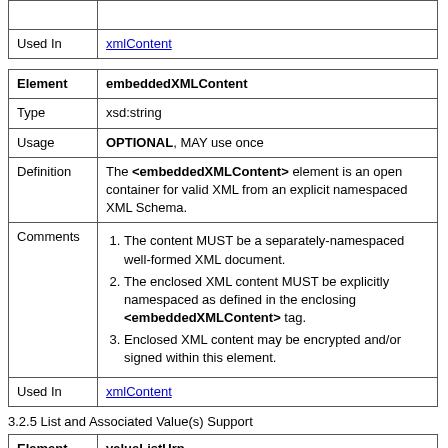|  |  |
| --- | --- |
|  |  |
| Used In | xmlContent |
| Element | embeddedXMLContent |
| --- | --- |
| Type | xsd:string |
| Usage | OPTIONAL, MAY use once |
| Definition | The <embeddedXMLContent> element is an open container for valid XML from an explicit namespaced XML Schema. |
| Comments | 1. The content MUST be a separately-namespaced well-formed XML document.
2. The enclosed XML content MUST be explicitly namespaced as defined in the enclosing <embeddedXMLContent> tag.
3. Enclosed XML content may be encrypted and/or signed within this element. |
| Used In | xmlContent |
3.2.5 List and Associated Value(s) Support
| Element | valueListUrn |
| --- | --- |